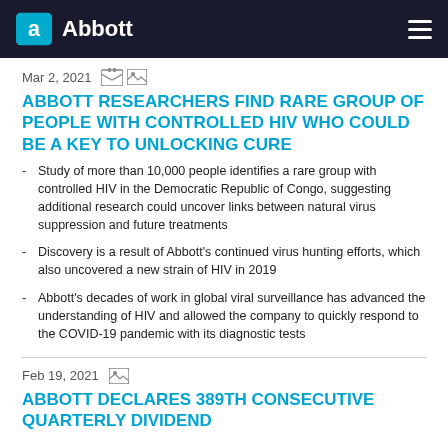Abbott
Mar 2, 2021
ABBOTT RESEARCHERS FIND RARE GROUP OF PEOPLE WITH CONTROLLED HIV WHO COULD BE A KEY TO UNLOCKING CURE
Study of more than 10,000 people identifies a rare group with controlled HIV in the Democratic Republic of Congo, suggesting additional research could uncover links between natural virus suppression and future treatments
Discovery is a result of Abbott's continued virus hunting efforts, which also uncovered a new strain of HIV in 2019
Abbott's decades of work in global viral surveillance has advanced the understanding of HIV and allowed the company to quickly respond to the COVID-19 pandemic with its diagnostic tests
Feb 19, 2021
ABBOTT DECLARES 389TH CONSECUTIVE QUARTERLY DIVIDEND